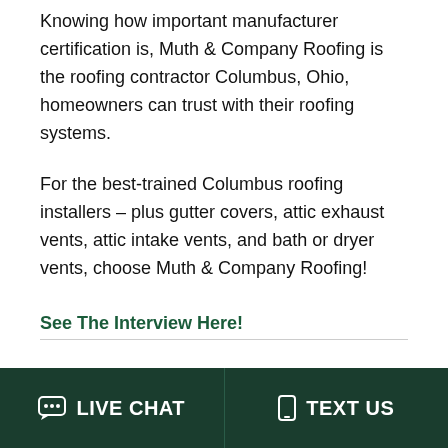Knowing how important manufacturer certification is, Muth & Company Roofing is the roofing contractor Columbus, Ohio, homeowners can trust with their roofing systems.
For the best-trained Columbus roofing installers – plus gutter covers, attic exhaust vents, attic intake vents, and bath or dryer vents, choose Muth & Company Roofing!
See The Interview Here!
LIVE CHAT   TEXT US